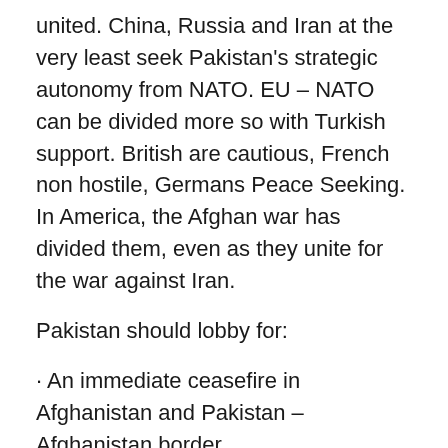united. China, Russia and Iran at the very least seek Pakistan's strategic autonomy from NATO. EU – NATO can be divided more so with Turkish support. British are cautious, French non hostile, Germans Peace Seeking. In America, the Afghan war has divided them, even as they unite for the war against Iran.
Pakistan should lobby for:
· An immediate ceasefire in Afghanistan and Pakistan – Afghanistan border.
· The political face of Taliban for talks.
· Early resolution of Baluch problem, where Empire (US – NATO) will strike back in Pakistan. (The next front being attacked by western – Indian Geo-strategy – Charter of Freedom for Baluchistan, etc).